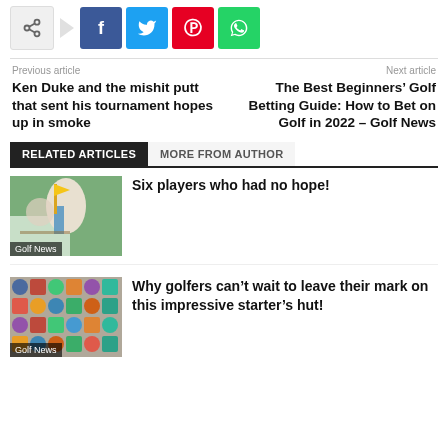[Figure (other): Social share buttons: share (generic), Facebook, Twitter, Pinterest, WhatsApp]
Previous article
Next article
Ken Duke and the mishit putt that sent his tournament hopes up in smoke
The Best Beginners’ Golf Betting Guide: How to Bet on Golf in 2022 – Golf News
RELATED ARTICLES
MORE FROM AUTHOR
[Figure (photo): Golf player celebrating with yellow flag in background, labelled Golf News]
Six players who had no hope!
[Figure (photo): Wall of golf club badges/patches on a starter's hut, labelled Golf News]
Why golfers can’t wait to leave their mark on this impressive starter’s hut!